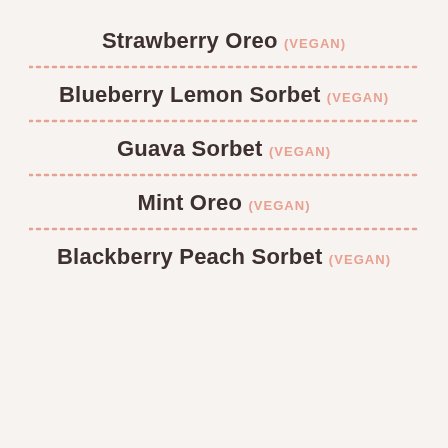Strawberry Oreo (VEGAN)
Blueberry Lemon Sorbet (VEGAN)
Guava Sorbet (VEGAN)
Mint Oreo (VEGAN)
Blackberry Peach Sorbet (VEGAN)